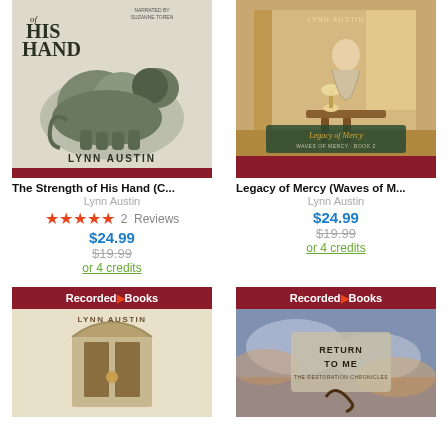[Figure (illustration): Book cover for 'The Strength of His Hand' by Lynn Austin, audiobook narrated by Suzanne Toren. Features a bronze lion sculpture and a red bar at the bottom. Lynn Austin author name prominently displayed.]
[Figure (illustration): Book cover for 'Legacy of Mercy (Waves of M...)' by Lynn Austin. Features a woman in period dress in an ornate room. Gold/teal decorative styling with red bar at bottom.]
The Strength of His Hand (C...
Lynn Austin
★★★★★  2  Reviews
$24.99
$19.99
or 4 credits
Legacy of Mercy (Waves of M...
Lynn Austin
$24.99
$19.99
or 4 credits
[Figure (illustration): Book cover with Recorded Books logo (red bar at top), author name Lynn Austin, and an archway/gate image on a light beige background.]
[Figure (illustration): Book cover with Recorded Books logo (red bar at top), title 'RETURN TO ME' in large text, cloudy sky background, on a blue-toned cover.]